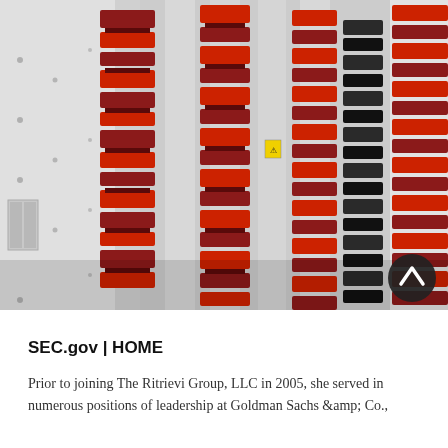[Figure (photo): Industrial photo showing rows of red and black electrical equipment (likely high-voltage insulators or switchgear) mounted on white metallic panels, viewed from a diagonal angle.]
SEC.gov | HOME
Prior to joining The Ritrievi Group, LLC in 2005, she served in numerous positions of leadership at Goldman Sachs &amp; Co.,